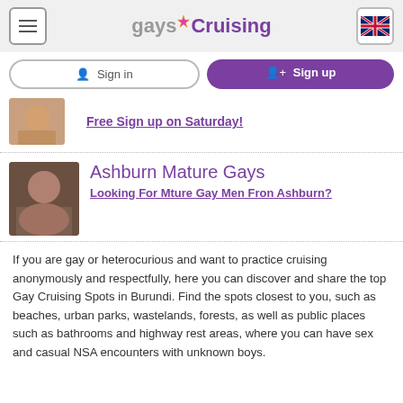gaysCruising
Sign in
Sign up
[Figure (photo): Partial photo thumbnail]
Free Sign up on Saturday!
[Figure (photo): Man photo thumbnail for Ashburn Mature Gays listing]
Ashburn Mature Gays
Looking For Mture Gay Men Fron Ashburn?
If you are gay or heterocurious and want to practice cruising anonymously and respectfully, here you can discover and share the top Gay Cruising Spots in Burundi. Find the spots closest to you, such as beaches, urban parks, wastelands, forests, as well as public places such as bathrooms and highway rest areas, where you can have sex and casual NSA encounters with unknown boys.